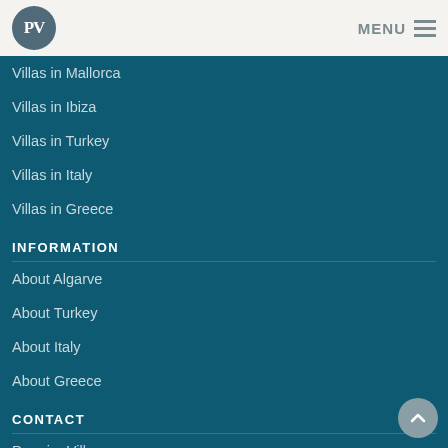PV | MENU
Villas in Mallorca
Villas in Ibiza
Villas in Turkey
Villas in Italy
Villas in Greece
INFORMATION
About Algarve
About Turkey
About Italy
About Greece
CONTACT
Premier Villas
Carthagena Barn